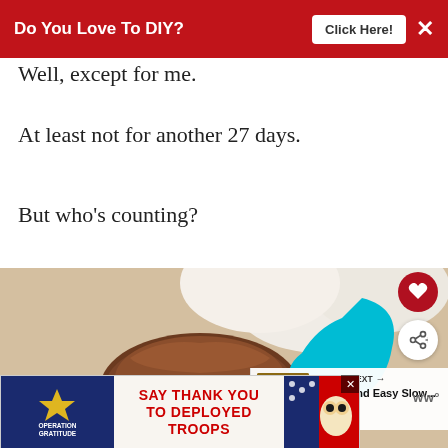[Figure (screenshot): Red banner advertisement at top: 'Do You Love To DIY? Click Here!' with close X button]
Well, except for me.
At least not for another 27 days.
But who's counting?
[Figure (photo): Close-up photo of a chocolate muffin or cupcake with whipped cream in the background, partially cropped. Overlaid with social sharing UI elements including heart button, share button, a teal bird graphic, and a 'What's Next' panel showing 'Quick And Easy Slow...']
[Figure (screenshot): Bottom advertisement for Operation Gratitude: 'SAY THANK YOU TO DEPLOYED TROOPS' with patriotic imagery]